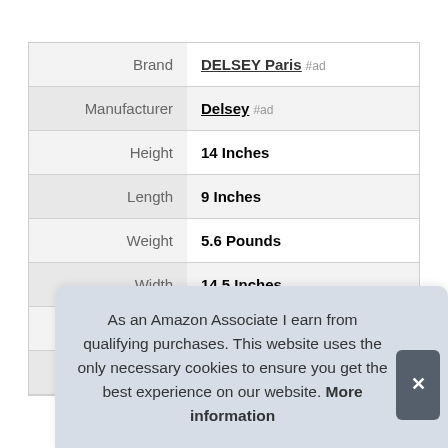| Attribute | Value |
| --- | --- |
| Brand | DELSEY Paris #ad |
| Manufacturer | Delsey #ad |
| Height | 14 Inches |
| Length | 9 Inches |
| Weight | 5.6 Pounds |
| Width | 14.5 Inches |
| Part Number | 4051808 |
| Model | 4051808 |
As an Amazon Associate I earn from qualifying purchases. This website uses the only necessary cookies to ensure you get the best experience on our website. More information